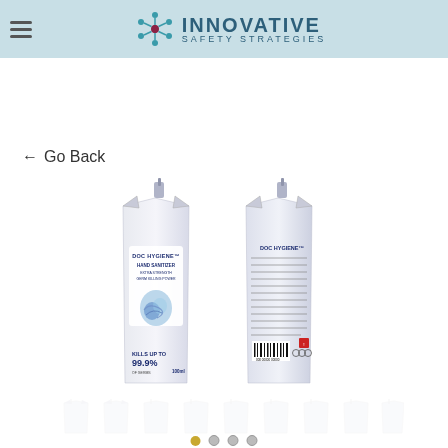Innovative Safety Strategies
← Go Back
[Figure (photo): Two pouches of DOC HYGIENE Hand Sanitizer Extra Strength Germ Killing Power — front view showing blue droplet logo and 99.9% label, and back view showing ingredients/instructions and barcode. 100ml pouches.]
[Figure (photo): Thumbnail strip showing multiple hand sanitizer pouch images, faded/semi-transparent at bottom of page.]